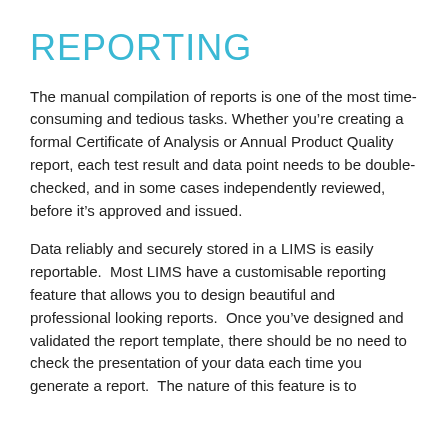REPORTING
The manual compilation of reports is one of the most time-consuming and tedious tasks. Whether you’re creating a formal Certificate of Analysis or Annual Product Quality report, each test result and data point needs to be double-checked, and in some cases independently reviewed, before it’s approved and issued.
Data reliably and securely stored in a LIMS is easily reportable.  Most LIMS have a customisable reporting feature that allows you to design beautiful and professional looking reports.  Once you’ve designed and validated the report template, there should be no need to check the presentation of your data each time you generate a report.  The nature of this feature is to